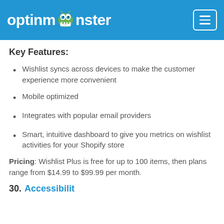optinmonster [logo with monster icon] [hamburger menu]
Key Features:
Wishlist syncs across devices to make the customer experience more convenient
Mobile optimized
Integrates with popular email providers
Smart, intuitive dashboard to give you metrics on wishlist activities for your Shopify store
Pricing: Wishlist Plus is free for up to 100 items, then plans range from $14.99 to $99.99 per month.
30. Accessibility